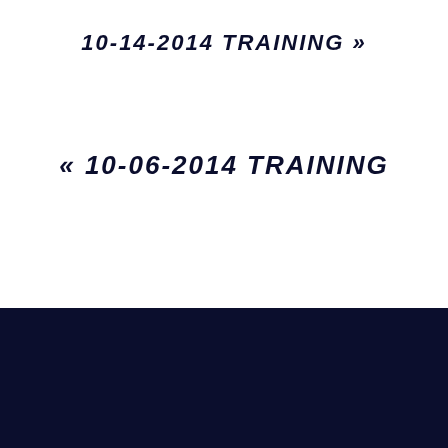10-14-2014 TRAINING »
« 10-06-2014 TRAINING
Email KCBB